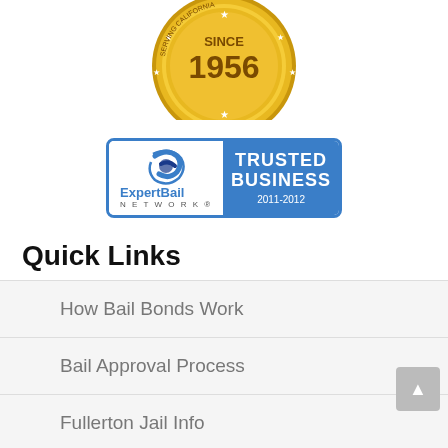[Figure (logo): Gold circular badge showing 'SINCE 1956' with stars and California state outline]
[Figure (logo): ExpertBail Network Trusted Business 2011-2012 badge with blue border]
Quick Links
How Bail Bonds Work
Bail Approval Process
Fullerton Jail Info
Information about OC Coast